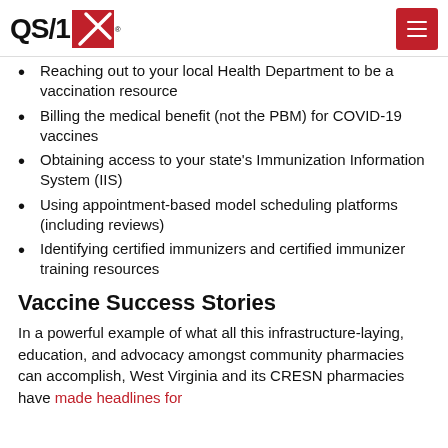QS/1 | Primcare Support 800/720-3840
Reaching out to your local Health Department to be a vaccination resource
Billing the medical benefit (not the PBM) for COVID-19 vaccines
Obtaining access to your state's Immunization Information System (IIS)
Using appointment-based model scheduling platforms (including reviews)
Identifying certified immunizers and certified immunizer training resources
Vaccine Success Stories
In a powerful example of what all this infrastructure-laying, education, and advocacy amongst community pharmacies can accomplish, West Virginia and its CRESN pharmacies have made headlines for